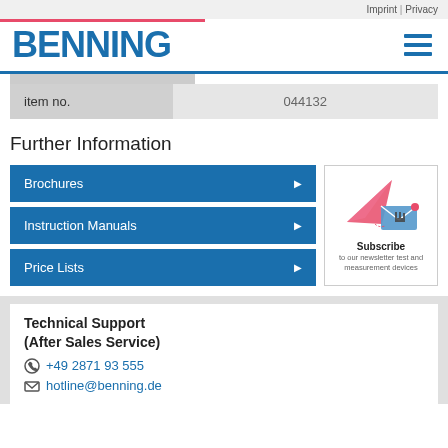Imprint | Privacy
[Figure (logo): BENNING company logo in blue with hamburger menu icon]
| item no. | 044132 |
| --- | --- |
Further Information
Brochures
Instruction Manuals
Price Lists
[Figure (illustration): Subscribe to our newsletter test and measurement devices - paper plane and envelope illustration]
Technical Support (After Sales Service)
+49 2871 93 555
hotline@benning.de